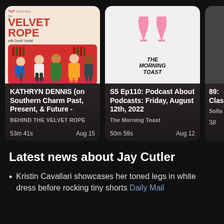[Figure (screenshot): Podcast card: Behind The Velvet Rope with David Yontef - episode KATHRYN DENNIS (on Southern Charm Past, Present, & Future - ), 53m 41s, Aug 15]
[Figure (screenshot): Podcast card: The Morning Toast - episode S5 Ep110: Podcast About Podcasts: Friday, August 12th, 2022, 50m 59s, Aug 12]
[Figure (screenshot): Partially visible podcast card: 89: [title cut off], Clas[cut off], Sofia [cut off], 3[cut off]]
Latest news about Jay Cutler
Kristin Cavallari showcases her toned legs in white dress before rocking tiny shorts Daily Mail